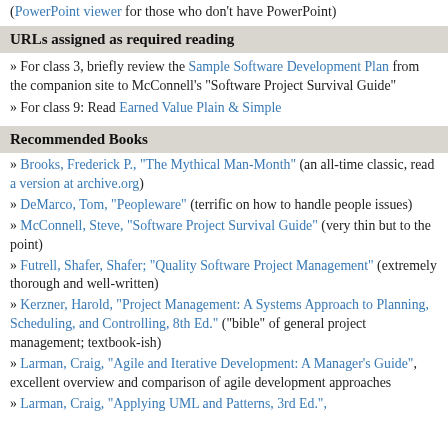(PowerPoint viewer for those who don't have PowerPoint)
URLs assigned as required reading
» For class 3, briefly review the Sample Software Development Plan from the companion site to McConnell's "Software Project Survival Guide"
» For class 9: Read Earned Value Plain & Simple
Recommended Books
» Brooks, Frederick P., "The Mythical Man-Month" (an all-time classic, read a version at archive.org)
» DeMarco, Tom, "Peopleware" (terrific on how to handle people issues)
» McConnell, Steve, "Software Project Survival Guide" (very thin but to the point)
» Futrell, Shafer, Shafer; "Quality Software Project Management" (extremely thorough and well-written)
» Kerzner, Harold, "Project Management: A Systems Approach to Planning, Scheduling, and Controlling, 8th Ed." ("bible" of general project management; textbook-ish)
» Larman, Craig, "Agile and Iterative Development: A Manager's Guide", excellent overview and comparison of agile development approaches
» Larman, Craig, "Applying UML and Patterns, 3rd Ed.",